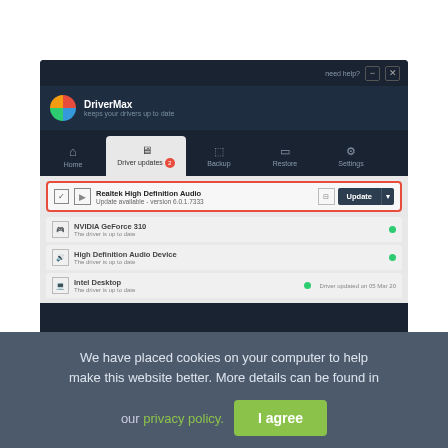[Figure (screenshot): DriverMax application screenshot showing Driver Updates tab with Realtek High Definition Audio driver highlighted with a red border, showing Update button. Below are other drivers: NVIDIA GeForce 310, High Definition Audio Device, Intel Desktop - all showing up to date status.]
We have placed cookies on your computer to help make this website better. More details can be found in our privacy policy.  I agree